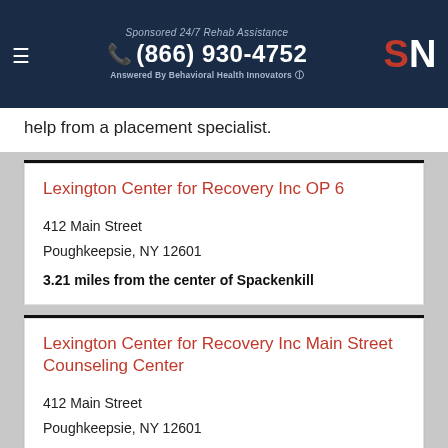Sponsored 24/7 Rehab Assistance (866) 930-4752 Answered By Behavioral Health Innovators SN
help from a placement specialist.
Lexington Center for Recovery Inc OP 6
412 Main Street
Poughkeepsie, NY 12601
3.21 miles from the center of Spackenkill
Lexington Center for Recovery Inc Main Street Counseling Center
412 Main Street
Poughkeepsie, NY 12601
3.21 miles from the center of Spackenkill